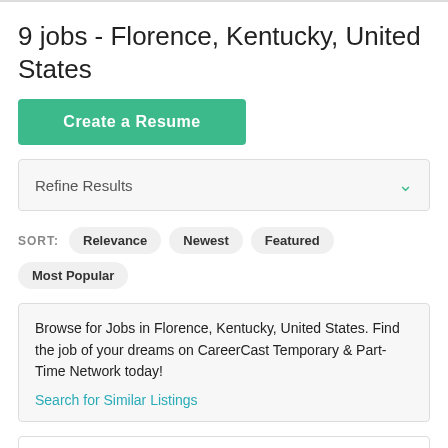9 jobs - Florence, Kentucky, United States
Create a Resume
Refine Results
SORT: Relevance Newest Featured Most Popular
Browse for Jobs in Florence, Kentucky, United States. Find the job of your dreams on CareerCast Temporary & Part-Time Network today!
Search for Similar Listings
27 days old
Retail Sales Technology Supervisor